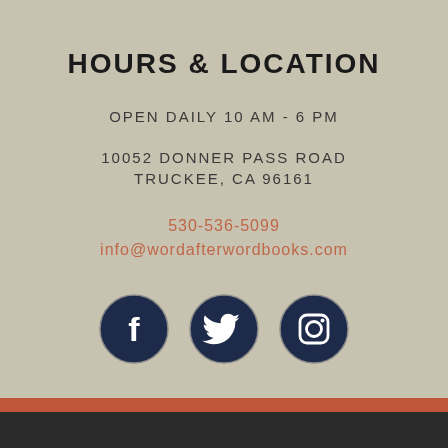HOURS & LOCATION
OPEN DAILY 10 AM - 6 PM
10052 DONNER PASS ROAD
TRUCKEE, CA 96161
530-536-5099
info@wordafterwordbooks.com
[Figure (illustration): Three circular social media icons (Facebook, Twitter, Instagram) with dark navy background and white icons]